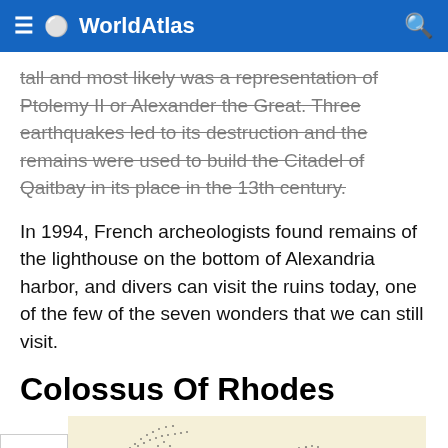WorldAtlas
tall and most likely was a representation of Ptolemy II or Alexander the Great. Three earthquakes led to its destruction and the remains were used to build the Citadel of Qaitbay in its place in the 13th century.
In 1994, French archeologists found remains of the lighthouse on the bottom of Alexandria harbor, and divers can visit the ruins today, one of the few of the seven wonders that we can still visit.
Colossus Of Rhodes
[Figure (illustration): Partial illustration of the Colossus of Rhodes on a pale yellow background, showing dotted/stippled line art.]